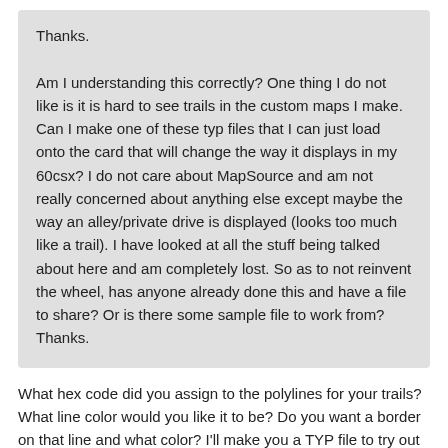Thanks.

Am I understanding this correctly? One thing I do not like is it is hard to see trails in the custom maps I make. Can I make one of these typ files that I can just load onto the card that will change the way it displays in my 60csx? I do not care about MapSource and am not really concerned about anything else except maybe the way an alley/private drive is displayed (looks too much like a trail). I have looked at all the stuff being talked about here and am completely lost. So as to not reinvent the wheel, has anyone already done this and have a file to share? Or is there some sample file to work from? Thanks.
What hex code did you assign to the polylines for your trails? What line color would you like it to be? Do you want a border on that line and what color? I'll make you a TYP file to try out that you can send to your GPSr with Sendmap20 along with your img. I'll also send you the TYP text control file I used to make it so you can use it as a guide to make your own TYP files.